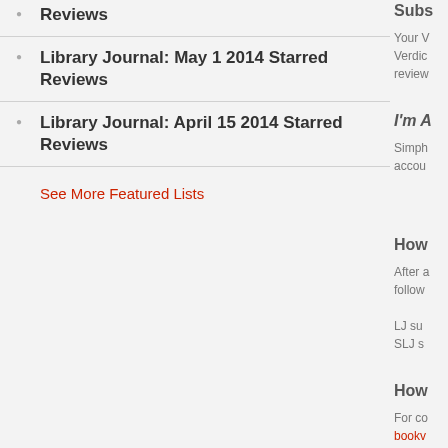Reviews
Library Journal: May 1 2014 Starred Reviews
Library Journal: April 15 2014 Starred Reviews
See More Featured Lists
Subs
Your V Verdic review
I'm A
Simph accou
How
After a follow LJ su SLJ s
How
For co bookv